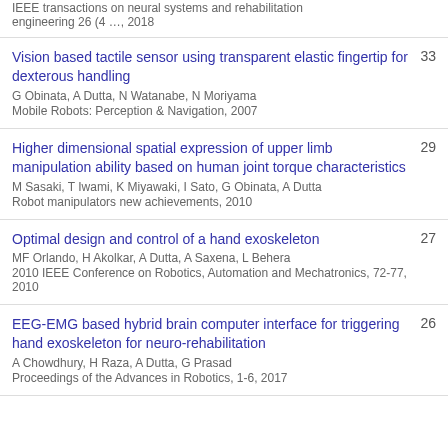IEEE transactions on neural systems and rehabilitation engineering 26 (4 …, 2018
Vision based tactile sensor using transparent elastic fingertip for dexterous handling | 33 | G Obinata, A Dutta, N Watanabe, N Moriyama | Mobile Robots: Perception & Navigation, 2007
Higher dimensional spatial expression of upper limb manipulation ability based on human joint torque characteristics | 29 | M Sasaki, T Iwami, K Miyawaki, I Sato, G Obinata, A Dutta | Robot manipulators new achievements, 2010
Optimal design and control of a hand exoskeleton | 27 | MF Orlando, H Akolkar, A Dutta, A Saxena, L Behera | 2010 IEEE Conference on Robotics, Automation and Mechatronics, 72-77, 2010
EEG-EMG based hybrid brain computer interface for triggering hand exoskeleton for neuro-rehabilitation | 26 | A Chowdhury, H Raza, A Dutta, G Prasad | Proceedings of the Advances in Robotics, 1-6, 2017